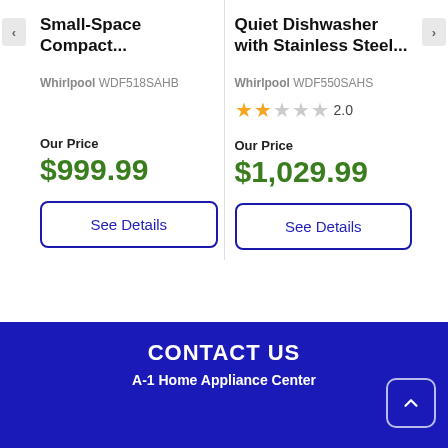Small-Space Compact...
Whirlpool WDF518SAHB
Our Price
$999.99
See Details
Quiet Dishwasher with Stainless Steel...
Whirlpool WDF550SAHS
2.0
Our Price
$1,029.99
See Details
CONTACT US
A-1 Home Appliance Center